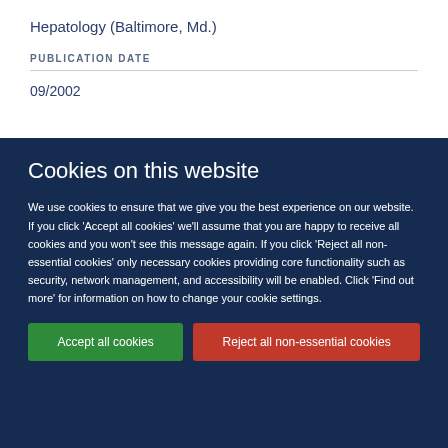Hepatology (Baltimore, Md.)
PUBLICATION DATE
09/2002
Cookies on this website
We use cookies to ensure that we give you the best experience on our website. If you click 'Accept all cookies' we'll assume that you are happy to receive all cookies and you won't see this message again. If you click 'Reject all non-essential cookies' only necessary cookies providing core functionality such as security, network management, and accessibility will be enabled. Click 'Find out more' for information on how to change your cookie settings.
Accept all cookies
Reject all non-essential cookies